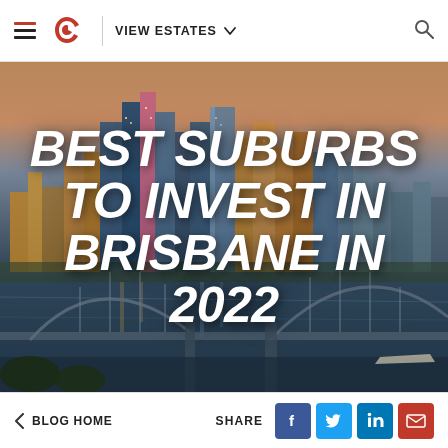≡  S  |  VIEW ESTATES ∨  🔍
[Figure (photo): Aerial twilight photo of Brisbane city skyline with river and bridge in foreground]
BEST SUBURBS TO INVEST IN BRISBANE IN 2022
< BLOG HOME    SHARE  [Facebook] [Twitter] [LinkedIn] [Email]